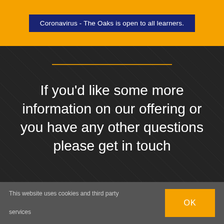Coronavirus - The Oaks is open to all learners.
If you'd like some more information on our offering or you have any other questions please get in touch
This website uses cookies and third party services